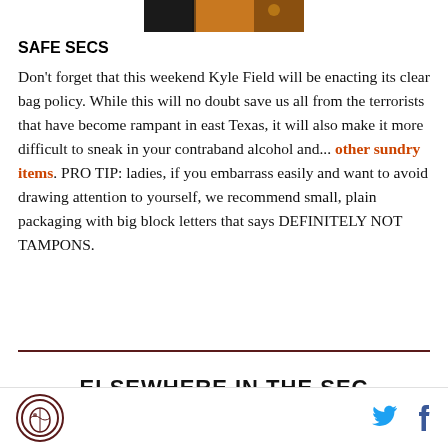[Figure (photo): Partial image at top of page showing outdoor/camouflage scene]
SAFE SECS
Don't forget that this weekend Kyle Field will be enacting its clear bag policy. While this will no doubt save us all from the terrorists that have become rampant in east Texas, it will also make it more difficult to sneak in your contraband alcohol and... other sundry items. PRO TIP: ladies, if you embarrass easily and want to avoid drawing attention to yourself, we recommend small, plain packaging with big block letters that says DEFINITELY NOT TAMPONS.
ELSEWHERE IN THE SEC
Logo and social media icons